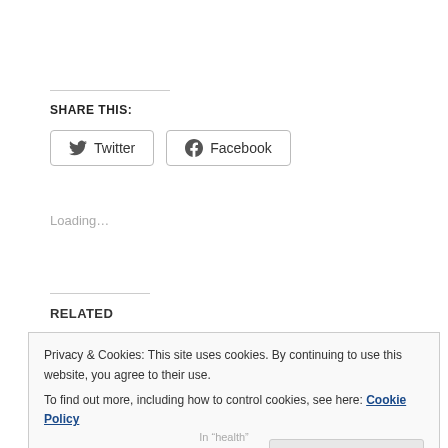SHARE THIS:
[Figure (other): Twitter and Facebook share buttons]
Loading...
RELATED
Privacy & Cookies: This site uses cookies. By continuing to use this website, you agree to their use.
To find out more, including how to control cookies, see here: Cookie Policy
Close and accept
In "health"